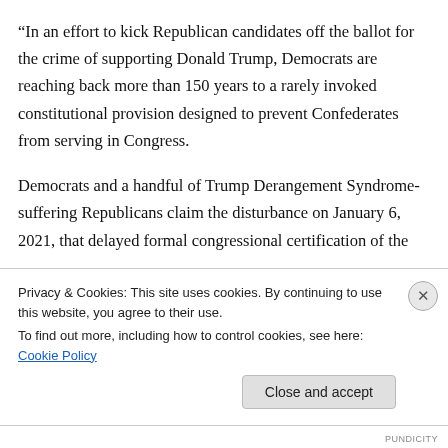“In an effort to kick Republican candidates off the ballot for the crime of supporting Donald Trump, Democrats are reaching back more than 150 years to a rarely invoked constitutional provision designed to prevent Confederates from serving in Congress.
Democrats and a handful of Trump Derangement Syndrome-suffering Republicans claim the disturbance on January 6, 2021, that delayed formal congressional certification of the
Privacy & Cookies: This site uses cookies. By continuing to use this website, you agree to their use.
To find out more, including how to control cookies, see here: Cookie Policy